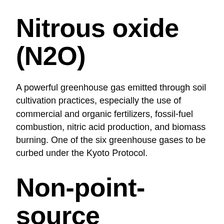Nitrous oxide (N2O)
A powerful greenhouse gas emitted through soil cultivation practices, especially the use of commercial and organic fertilizers, fossil-fuel combustion, nitric acid production, and biomass burning. One of the six greenhouse house gases to be curbed under the Kyoto Protocol.
Non-point-source pollution